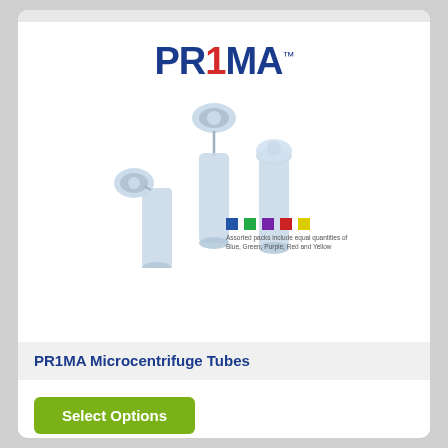[Figure (photo): PR1MA logo and microcentrifuge tubes product image with colored cap variants (Blue, Green, Purple, Red, Yellow)]
PR1MA Microcentrifuge Tubes
Select Options